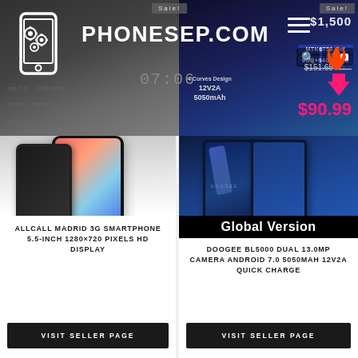[Figure (screenshot): Website header for PHONESEP.COM with logo, navigation hamburger menu, and background product images of smartphones]
[Figure (photo): Left product image: Allcall Madrid 3G smartphone with feature icons (Android 7.0, 1GB+8GB, 3000mAh, Metal Frame, curved surface, portrait mode)]
[Figure (photo): Right product image: Doogee BL5000 dual camera smartphone in dark blue, with Sale tag, price $151.65 crossed out, sale price $90.99, Global Version banner]
ALLCALL MADRID 3G SMARTPHONE 5.5-INCH 1280×720 PIXELS HD DISPLAY
VISIT SELLER PAGE
DOOGEE BL5000 DUAL 13.0MP CAMERA ANDROID 7.0 5050MAH 12V2A QUICK CHARGE
VISIT SELLER PAGE